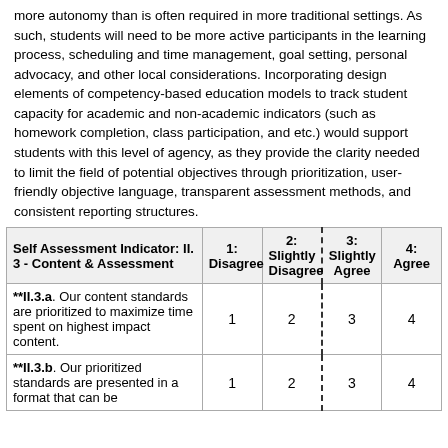more autonomy than is often required in more traditional settings. As such, students will need to be more active participants in the learning process, scheduling and time management, goal setting, personal advocacy, and other local considerations. Incorporating design elements of competency-based education models to track student capacity for academic and non-academic indicators (such as homework completion, class participation, and etc.) would support students with this level of agency, as they provide the clarity needed to limit the field of potential objectives through prioritization, user-friendly objective language, transparent assessment methods, and consistent reporting structures.
| Self Assessment Indicator: II. 3 - Content & Assessment | 1: Disagree | 2: Slightly Disagree | 3: Slightly Agree | 4: Agree |
| --- | --- | --- | --- | --- |
| **II.3.a. Our content standards are prioritized to maximize time spent on highest impact content. | 1 | 2 | 3 | 4 |
| **II.3.b. Our prioritized standards are presented in a format that can be | 1 | 2 | 3 | 4 |